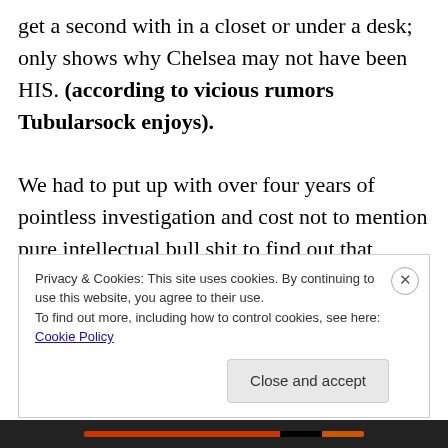get a second with in a closet or under a desk; only shows why Chelsea may not have been HIS. (according to vicious rumors Tubularsock enjoys).

We had to put up with over four years of pointless investigation and cost not to mention pure intellectual bull shit to find out that Killery WAS THE ONE in collusion with “Being Under
Privacy & Cookies: This site uses cookies. By continuing to use this website, you agree to their use.
To find out more, including how to control cookies, see here: Cookie Policy
Close and accept